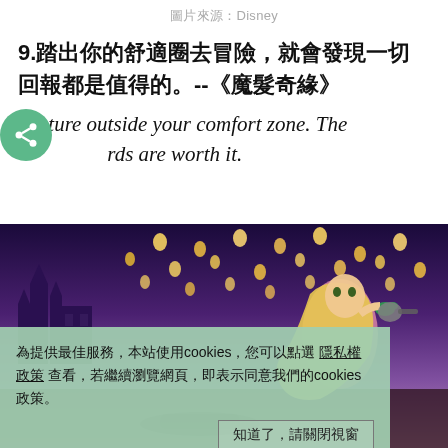圖片來源：Disney
9.踏出你的舒適圈去冒險，就會發現一切回報都是值得的。--《魔髮奇緣》
Venture outside your comfort zone. The rewards are worth it.
[Figure (illustration): Scene from Disney's Tangled (Rapunzel) showing Rapunzel with lanterns floating in the night sky over a castle]
為提供最佳服務，本站使用cookies，您可以點選 隱私權政策 查看，若繼續瀏覽網頁，即表示同意我們的cookies政策。
知道了，請關閉視窗